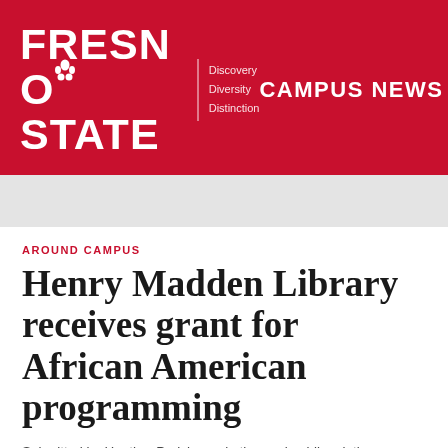FRESNO STATE | Discovery Diversity Distinction — CAMPUS NEWS
AROUND CAMPUS
Henry Madden Library receives grant for African American programming
Submitted by Heather Parish, marketing and public relations specialist, Henry Madden Library
Henry Madden Library